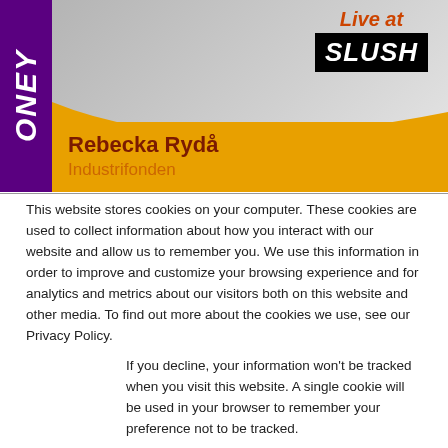[Figure (photo): Promotional banner image for 'Live at SLUSH' event featuring a person in background with purple sidebar text 'ONEY', gold banner with speaker name]
Rebecka Rydå
Industrifonden
This website stores cookies on your computer. These cookies are used to collect information about how you interact with our website and allow us to remember you. We use this information in order to improve and customize your browsing experience and for analytics and metrics about our visitors both on this website and other media. To find out more about the cookies we use, see our Privacy Policy.
If you decline, your information won't be tracked when you visit this website. A single cookie will be used in your browser to remember your preference not to be tracked.